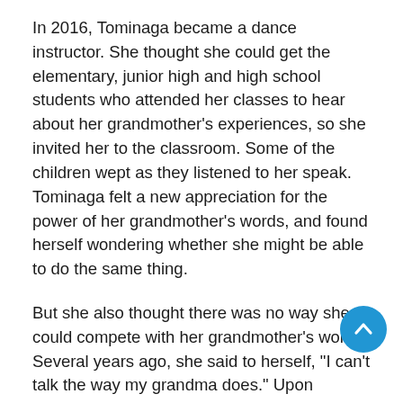In 2016, Tominaga became a dance instructor. She thought she could get the elementary, junior high and high school students who attended her classes to hear about her grandmother's experiences, so she invited her to the classroom. Some of the children wept as they listened to her speak. Tominaga felt a new appreciation for the power of her grandmother's words, and found herself wondering whether she might be able to do the same thing.
But she also thought there was no way she could compete with her grandmother's words. Several years ago, she said to herself, "I can't talk the way my grandma does." Upon hearing her, her grandmother smiled kindly and said, "The things you are good at are enough."
Tominaga's dance at the funeral was not just a way